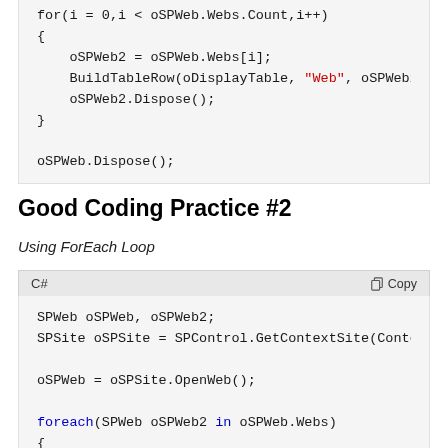[Figure (screenshot): Code block (top, cropped) showing a for loop with oSPWeb2, BuildTableRow, and oSPWeb.Dispose() in C#]
Good Coding Practice #2
Using ForEach Loop
[Figure (screenshot): C# code block with toolbar showing: SPWeb oSPWeb, oSPWeb2; SPSite oSPSite = SPControl.GetContextSite(Conte... oSPWeb = oSPSite.OpenWeb(); foreach(SPWeb oSPWeb2 in oSPWeb.Webs) {]